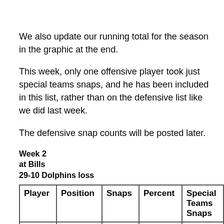We also update our running total for the season in the graphic at the end.
This week, only one offensive player took just special teams snaps, and he has been included in this list, rather than on the defensive list like we did last week.
The defensive snap counts will be posted later.
Week 2
at Bills
29-10 Dolphins loss
| Player | Position | Snaps | Percent | Special Teams Snaps |
| --- | --- | --- | --- | --- |